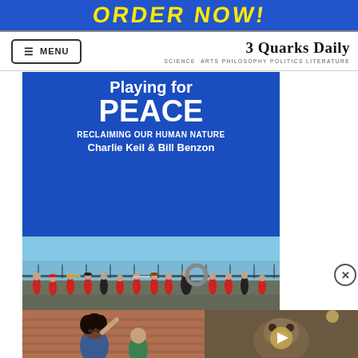[Figure (photo): Top banner with yellow 'ORDER NOW!' text on blue background]
MENU | 3 Quarks Daily
SCIENCE ARTS PHILOSOPHY POLITICS LITERATURE
[Figure (photo): Book advertisement for 'Playing for Peace: Reclaiming Our Human Nature' by Charlie Keil & Bill Benzon. Top half shows marching band in red outfits. Bottom half is blue with white bold text.]
[Figure (photo): Bottom left: woman dancing or celebrating outdoors near a brick wall]
[Figure (photo): Bottom right: video thumbnail showing an animal (possibly an otter or similar), with a play button overlay]